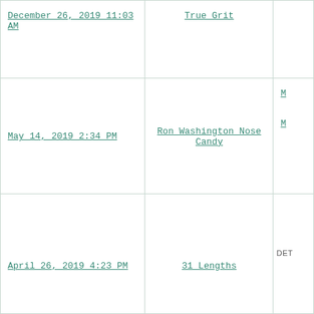| December 26, 2019 11:03 AM | True Grit |  |
| May 14, 2019 2:34 PM | Ron Washington Nose Candy | M... |
| April 26, 2019 4:23 PM | 31 Lengths | DET |